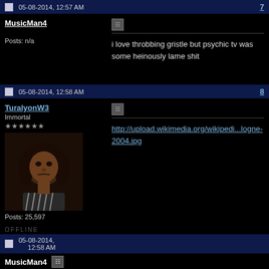05-08-2014, 12:57 AM  7
MusicMan4
Posts: n/a
i love throbbing gristle but psychic tv was some heinously lame shit
05-08-2014, 12:58 AM  8
TuralyonW3
Immortal
★★★★★★
Posts: 25,597
http://upload.wikimedia.org/wikipedi...logne-2004.jpg
OFFLINE
05-08-2014, 12:58 AM
MusicMan4